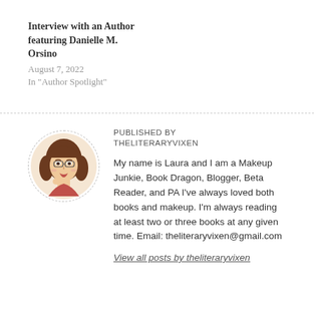Interview with an Author featuring Danielle M. Orsino
August 7, 2022
In "Author Spotlight"
PUBLISHED BY
THELITERARYVIXEN
[Figure (illustration): Circular dashed-border avatar of a cartoon woman with brown wavy hair, glasses, and a stylized makeup look, posing with hand near chin.]
My name is Laura and I am a Makeup Junkie, Book Dragon, Blogger, Beta Reader, and PA I've always loved both books and makeup. I'm always reading at least two or three books at any given time. Email: theliteraryvixen@gmail.com
View all posts by theliteraryvixen